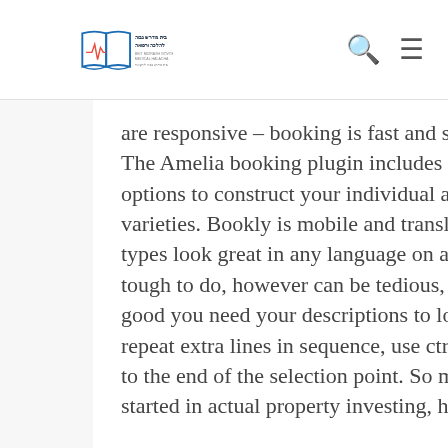Beit Midrash Govoha for Medical Halacha [logo with search and menu icons]
are responsive – booking is fast and simple on any machine. The Amelia booking plugin includes straightforward to use options to construct your individual appointment booking varieties. Bookly is mobile and translation prepared, so your types look great in any language on any machine. This isn't tough to do, however can be tedious, relying on simply how good you need your descriptions to look. In order for you to repeat extra lines in sequence, use ctrl-shift-u or o to navigate to the end of the selection point. So many people want to get started in actual property investing, however don't